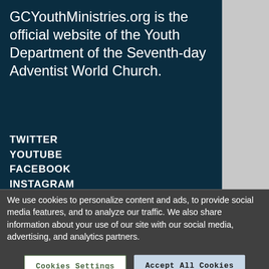GCYouthMinistries.org is the official website of the Youth Department of the Seventh-day Adventist World Church.
TWITTER
YOUTUBE
FACEBOOK
INSTAGRAM
TRADEMARK AND LOGO USAGE
LEGAL NOTICE
PRIVACY POLICY
We use cookies to personalize content and ads, to provide social media features, and to analyze our traffic. We also share information about your use of our site with our social media, advertising, and analytics partners.
Cookies Settings
Accept All Cookies